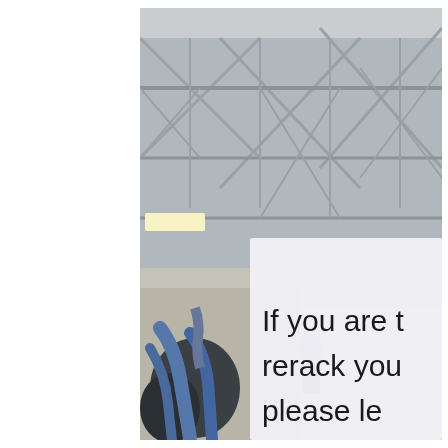[Figure (photo): A gym interior photo showing a metal truss ceiling with diagonal cross-bracing visible in the upper portion. Gym equipment (blue padded cables/chains) is visible in the lower left. A white sign partially visible on the right side reads partial text: 'If you are t', 'rerack you', 'please le' — a truncated gym sign about reracking weights.]